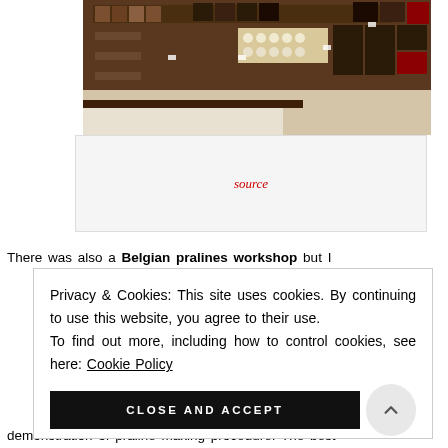[Figure (photo): Interior of a chocolate/confectionery shop with shelves full of boxed chocolates and pralines in various colors including white, brown, and red packaging]
source
There was also a Belgian pralines workshop but I
Privacy & Cookies: This site uses cookies. By continuing to use this website, you agree to their use.
To find out more, including how to control cookies, see here: Cookie Policy
CLOSE AND ACCEPT
demonstration of praline making procedure. The best